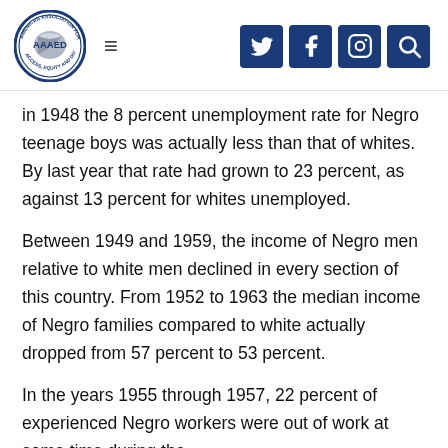AAAED — American Association for Access, Equity and Diversity [logo and navigation]
In 1948 the 8 percent unemployment rate for Negro teenage boys was actually less than that of whites. By last year that rate had grown to 23 percent, as against 13 percent for whites unemployed.
Between 1949 and 1959, the income of Negro men relative to white men declined in every section of this country. From 1952 to 1963 the median income of Negro families compared to white actually dropped from 57 percent to 53 percent.
In the years 1955 through 1957, 22 percent of experienced Negro workers were out of work at some time during the